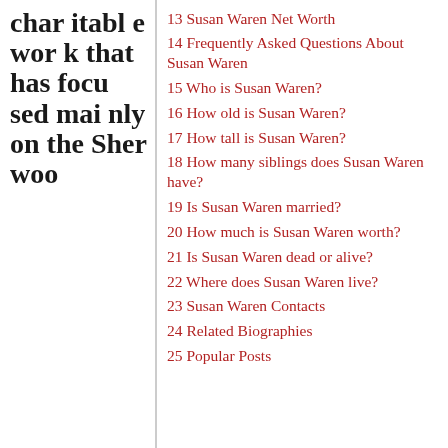charitable work that has focused mainly on the Sherwoo
13 Susan Waren Net Worth
14 Frequently Asked Questions About Susan Waren
15 Who is Susan Waren?
16 How old is Susan Waren?
17 How tall is Susan Waren?
18 How many siblings does Susan Waren have?
19 Is Susan Waren married?
20 How much is Susan Waren worth?
21 Is Susan Waren dead or alive?
22 Where does Susan Waren live?
23 Susan Waren Contacts
24 Related Biographies
25 Popular Posts